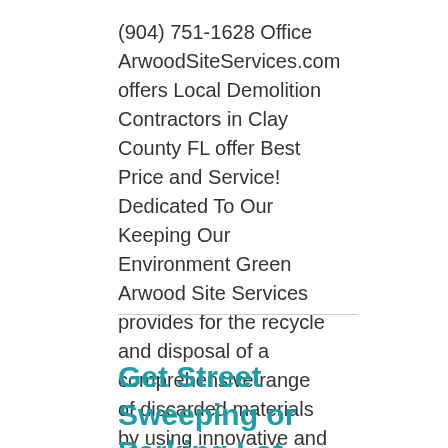(904) 751-1628 Office ArwoodSiteServices.com offers Local Demolition Contractors in Clay County FL offer Best Price and Service! Dedicated To Our Keeping Our Environment Green Arwood Site Services provides for the recycle and disposal of a comprehensive range of discarded materials by using innovative and ethical means. We are dedicated to keeping our environment clean, safe … Read more
Get Street Sweeping or Parking Lot Cleaning Company in Clay County